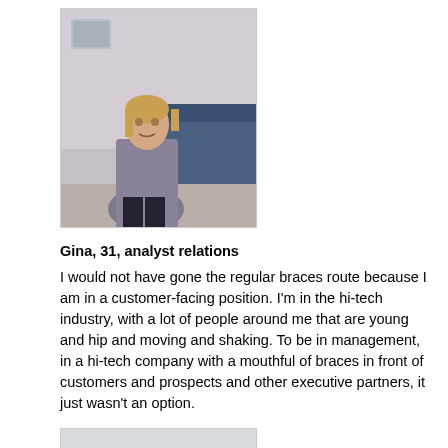[Figure (photo): Professional photo of Gina, a woman standing in an office setting wearing a gray/purple blazer]
Gina, 31, analyst relations
I would not have gone the regular braces route because I am in a customer-facing position. I'm in the hi-tech industry, with a lot of people around me that are young and hip and moving and shaking. To be in management, in a hi-tech company with a mouthful of braces in front of customers and prospects and other executive partners, it just wasn't an option.
[Figure (photo): Professional photo of William, a man standing in an office with arms crossed wearing a blue shirt]
William, 31, investment broker